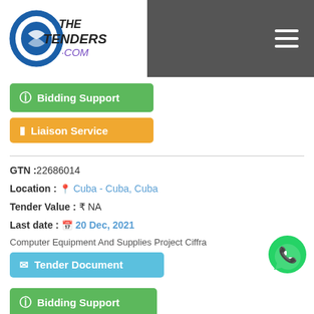[Figure (logo): TheTenders.com logo with blue oval icon and dark text]
Bidding Support
Liaison Service
GTN :22686014
Location : Cuba - Cuba, Cuba
Tender Value : ₹ NA
Last date : 20 Dec, 2021
Computer Equipment And Supplies Project Ciffra
Tender Document
Bidding Support
Liaison Service
GTN :22604057
Location : Cuba - Cuba, Cuba
[Figure (logo): WhatsApp green phone icon button]